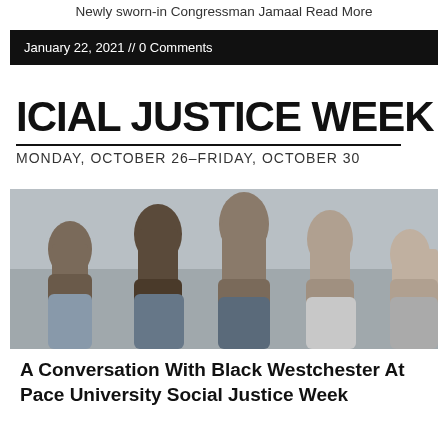Newly sworn-in Congressman Jamaal Read More
January 22, 2021 // 0 Comments
[Figure (photo): Social Justice Week Events flyer showing raised fists protest photo with text 'SOCIAL JUSTICE WEEK EVENTS' and 'MONDAY, OCTOBER 26–FRIDAY, OCTOBER 30']
A Conversation With Black Westchester At Pace University Social Justice Week